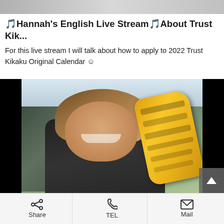[Figure (photo): Partial top image, cropped at top of page]
🎵Hannah's English Live Stream🎵About Trust Kik...
For this live stream I will talk about how to apply to 2022 Trust Kikaku Original Calendar ☺
[Figure (photo): Young woman smiling and holding a golden brake caliper in an automotive workshop. Black bars on left and right sides. Scroll-up button in bottom-right corner.]
🎵Hannah's English Live Stream🎵Showing upcom
Share   TEL   Mail